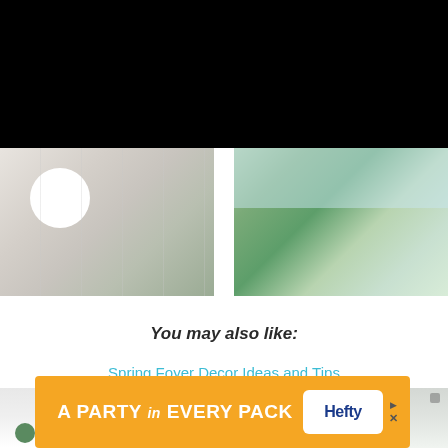[Figure (photo): Black bar at top of page (cropped/cut-off area)]
[Figure (photo): Two side-by-side photos: left shows a table setting with white ceramic pieces and glassware on a floral placemat; right shows green tropical leaves with light filtering through]
You may also like:
Spring Foyer Decor Ideas and Tips
[Figure (photo): Two side-by-side photos of bright foyer/room interiors with plants and light grey walls (partially cropped at bottom)]
[Figure (photo): Advertisement banner: A PARTY in EVERY PACK — Hefty brand logo]